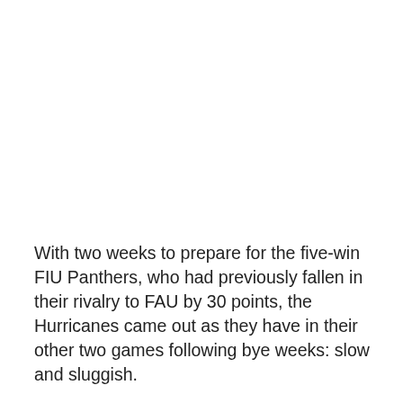With two weeks to prepare for the five-win FIU Panthers, who had previously fallen in their rivalry to FAU by 30 points, the Hurricanes came out as they have in their other two games following bye weeks: slow and sluggish.
Much like those two games too, the Hurricanes embarrassingly fell, this time to crosstown rival FIU by